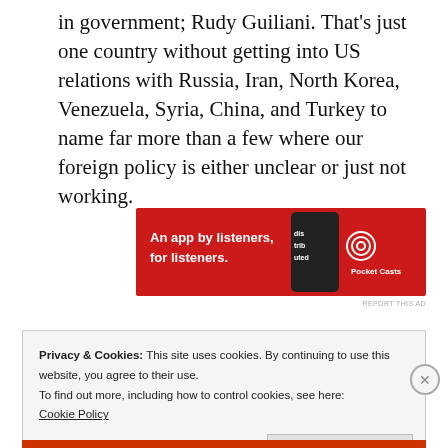in government; Rudy Guiliani. That's just one country without getting into US relations with Russia, Iran, North Korea, Venezuela, Syria, China, and Turkey to name far more than a few where our foreign policy is either unclear or just not working.
[Figure (infographic): Red advertisement banner for Pocket Casts: 'An app by listeners, for listeners.' with phone image and Pocket Casts logo]
REPORT THIS AD
Privacy & Cookies: This site uses cookies. By continuing to use this website, you agree to their use.
To find out more, including how to control cookies, see here:
Cookie Policy
Close and accept